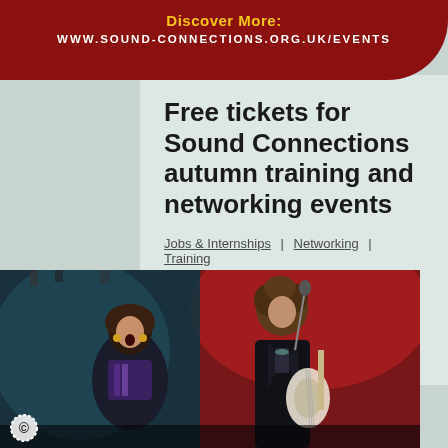Discover More: www.sound-connections.org.uk/events
Free tickets for Sound Connections autumn training and networking events
Jobs & Internships | Networking | Training
MORE DETAILS ›
[Figure (photo): Two musicians performing on stage; a woman singing on the left and a man playing guitar on the right, with red stage lighting in the background.]